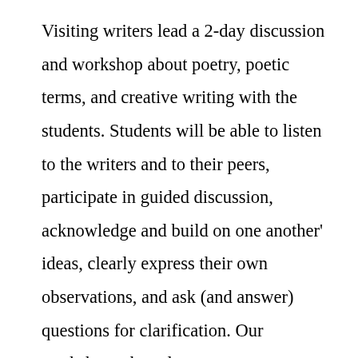Visiting writers lead a 2-day discussion and workshop about poetry, poetic terms, and creative writing with the students. Students will be able to listen to the writers and to their peers, participate in guided discussion, acknowledge and build on one another' ideas, clearly express their own observations, and ask (and answer) questions for clarification. Our workshop takes place over two consecutive days, and students are required to recall the previous day's lesson, review and explain key ideas, draw upon that information and apply it to their work on the second day. Upon the completion of each segment, students total...